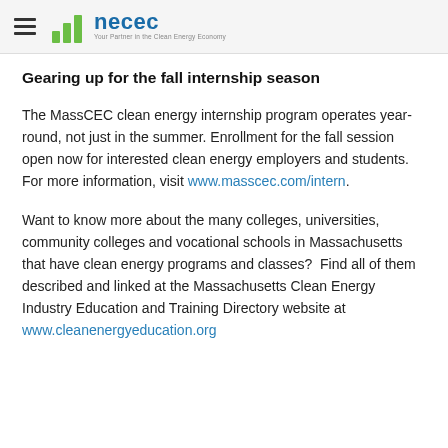necec — Your Partner in the Clean Energy Economy
Gearing up for the fall internship season
The MassCEC clean energy internship program operates year-round, not just in the summer. Enrollment for the fall session open now for interested clean energy employers and students. For more information, visit www.masscec.com/intern.
Want to know more about the many colleges, universities, community colleges and vocational schools in Massachusetts that have clean energy programs and classes?  Find all of them described and linked at the Massachusetts Clean Energy Industry Education and Training Directory website at www.cleanenergyeducation.org